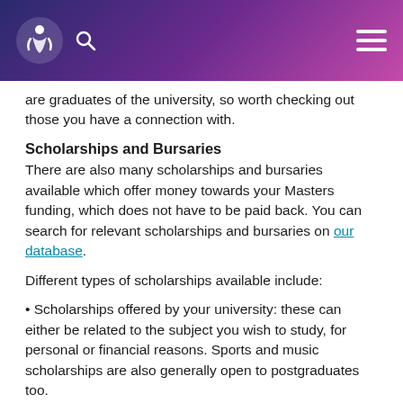are graduates of the university, so worth checking out those you have a connection with.
Scholarships and Bursaries
There are also many scholarships and bursaries available which offer money towards your Masters funding, which does not have to be paid back. You can search for relevant scholarships and bursaries on our database.
Different types of scholarships available include:
Scholarships offered by your university: these can either be related to the subject you wish to study, for personal or financial reasons. Sports and music scholarships are also generally open to postgraduates too.